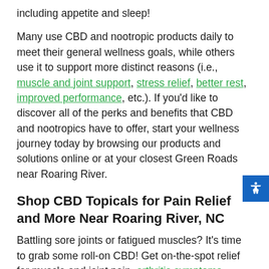including appetite and sleep!
Many use CBD and nootropic products daily to meet their general wellness goals, while others use it to support more distinct reasons (i.e., muscle and joint support, stress relief, better rest, improved performance, etc.). If you'd like to discover all of the perks and benefits that CBD and nootropics have to offer, start your wellness journey today by browsing our products and solutions online or at your closest Green Roads near Roaring River.
Shop CBD Topicals for Pain Relief and More Near Roaring River, NC
Battling sore joints or fatigued muscles? It's time to grab some roll-on CBD! Get on-the-spot relief for muscle and joint pain, arthritis symptoms, general pain relief, and more by adding Green Roads CBD topical solutions to your wellness routine. With CBD products for arthritis and our customer-favorite muscle and joint pain relief creams with CBD, you can get targeted relief right at the source.
CBD Capsules for Relaxation and Sleep Near